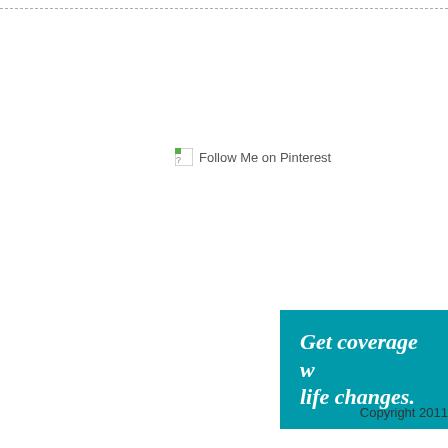[Figure (other): Broken image placeholder with text 'Follow Me on Pinterest']
[Figure (infographic): Teal banner with bold italic text: 'Get coverage w... life changes.']
Copyright 2011